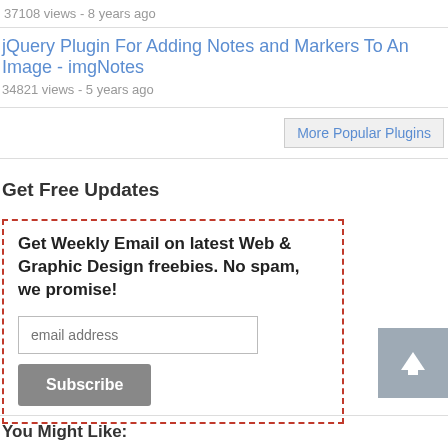37108 views - 8 years ago
jQuery Plugin For Adding Notes and Markers To An Image - imgNotes
34821 views - 5 years ago
More Popular Plugins
Get Free Updates
Get Weekly Email on latest Web & Graphic Design freebies. No spam, we promise!
You Might Like: